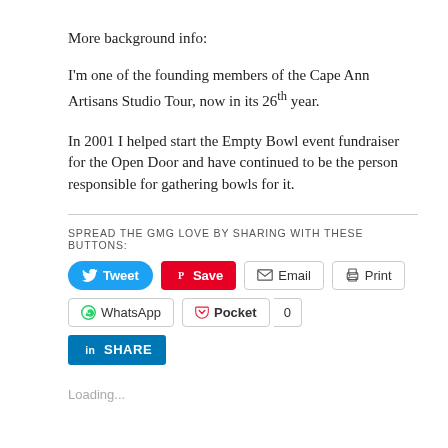More background info:
I'm one of the founding members of the Cape Ann Artisans Studio Tour, now in its 26th year.
In 2001 I helped start the Empty Bowl event fundraiser for the Open Door and have continued to be the person responsible for gathering bowls for it.
SPREAD THE GMG LOVE BY SHARING WITH THESE BUTTONS:
[Figure (other): Social sharing buttons: Tweet, Save (Pinterest), Email, Print, WhatsApp, Pocket (0), LinkedIn Share]
Loading...